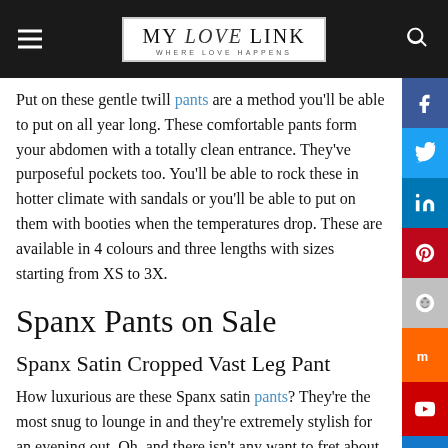MY LOVE LINK — WHERE LOVE HAPPENS
Put on these gentle twill pants are a method you'll be able to put on all year long. These comfortable pants form your abdomen with a totally clean entrance. They've purposeful pockets too. You'll be able to rock these in hotter climate with sandals or you'll be able to put on them with booties when the temperatures drop. These are available in 4 colours and three lengths with sizes starting from XS to 3X.
Spanx Pants on Sale
Spanx Satin Cropped Vast Leg Pant
How luxurious are these Spanx satin pants? They're the most snug to lounge in and they're extremely stylish for an evening out. Oh, and there isn't any want to fret about dry cleansing as a